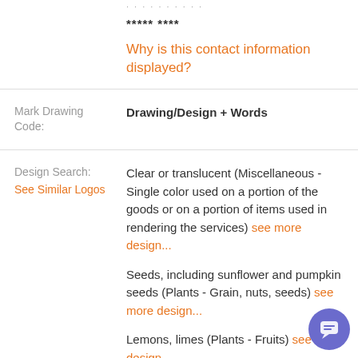***** ****
Why is this contact information displayed?
Mark Drawing Code: Drawing/Design + Words
Design Search: See Similar Logos
Clear or translucent (Miscellaneous - Single color used on a portion of the goods or on a portion of items used in rendering the services) see more design...
Seeds, including sunflower and pumpkin seeds (Plants - Grain, nuts, seeds) see more design...
Lemons, limes (Plants - Fruits) see more design...